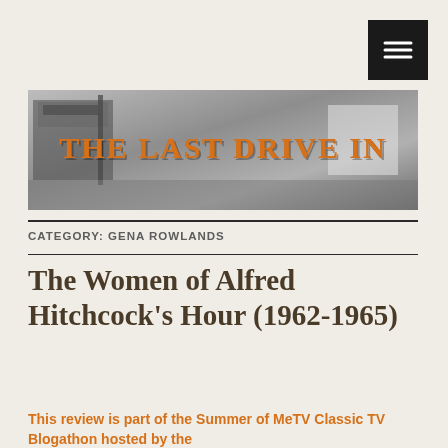[Figure (logo): Menu button with hamburger icon, dark background, top right corner]
[Figure (photo): Black and white photograph of a drive-in theater with 'The Last Drive In' text overlaid in orange bold serif font]
CATEGORY: GENA ROWLANDS
The Women of Alfred Hitchcock's Hour (1962-1965)
This review is part of the Summer of MeTV Classic TV Blogathon hosted by the